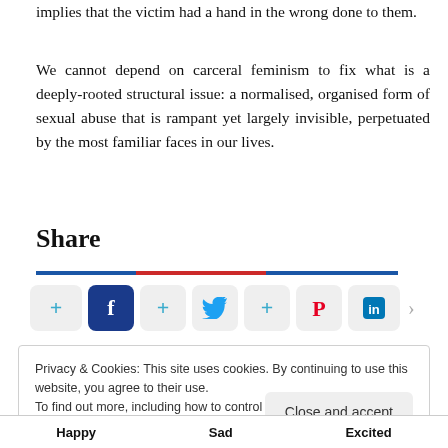implies that the victim had a hand in the wrong done to them.
We cannot depend on carceral feminism to fix what is a deeply-rooted structural issue: a normalised, organised form of sexual abuse that is rampant yet largely invisible, perpetuated by the most familiar faces in our lives.
Share
[Figure (infographic): Share buttons row: plus icon, Facebook icon, plus icon, Twitter bird icon, plus icon, Pinterest P icon, LinkedIn icon, right arrow]
Privacy & Cookies: This site uses cookies. By continuing to use this website, you agree to their use.
To find out more, including how to control cookies, see here: Cookie Policy
Close and accept
Happy   Sad   Excited